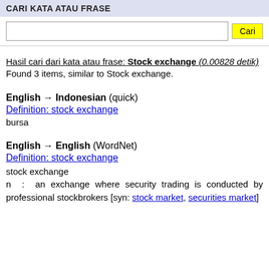CARI KATA ATAU FRASE
Hasil cari dari kata atau frase: Stock exchange (0.00828 detik)
Found 3 items, similar to Stock exchange.
English → Indonesian (quick)
Definition: stock exchange
bursa
English → English (WordNet)
Definition: stock exchange
stock exchange
n : an exchange where security trading is conducted by professional stockbrokers [syn: stock market, securities market]